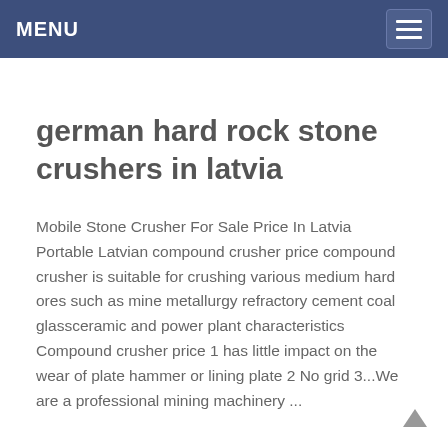MENU
german hard rock stone crushers in latvia
Mobile Stone Crusher For Sale Price In Latvia Portable Latvian compound crusher price compound crusher is suitable for crushing various medium hard ores such as mine metallurgy refractory cement coal glassceramic and power plant characteristics Compound crusher price 1 has little impact on the wear of plate hammer or lining plate 2 No grid 3...We are a professional mining machinery ...